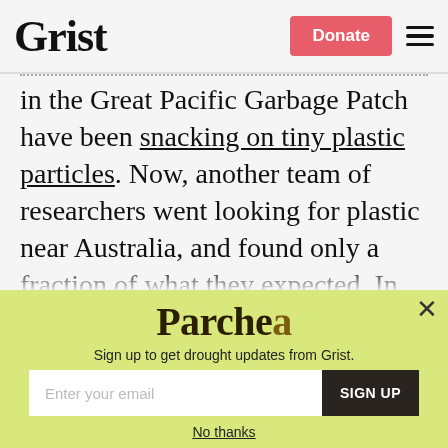Grist | Donate | [menu]
in the Great Pacific Garbage Patch have been snacking on tiny plastic particles. Now, another team of researchers went looking for plastic near Australia, and found only a fraction of what they expected. In particular, they noticed, there weren't any pieces around an inch long. They had a
[Figure (screenshot): Modal popup with lime-green background showing 'Parched' newsletter signup for drought updates from Grist, with email input field and SIGN UP button, and 'No thanks' link]
Parched
Sign up to get drought updates from Grist.
Enter your email | SIGN UP
No thanks